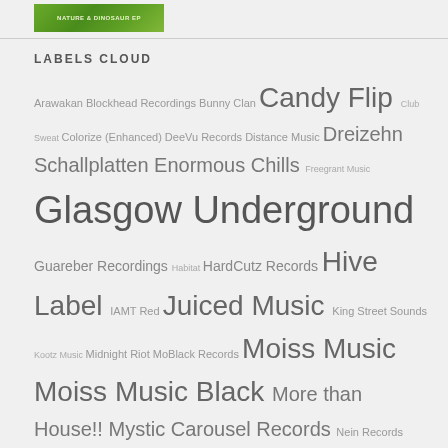[Figure (illustration): Green thumbnail image resembling album art or logo with light text overlay]
LABELS CLOUD
Arawakan Blockhead Recordings Bunny Clan Candy Flip Club Sweat Colorize (Enhanced) DeeVu Records Distance Music Dreizehn Schallplatten Enormous Chills Freegrant Music Glasgow Underground Guareber Recordings Habitat HardCutz Records Hive Label IAMT Red Juiced Music King Street Sounds Kootz Music Midnight Riot MoBlack Records Moiss Music Moiss Music Black More than House!! Mystic Carousel Records Nein Records Nervous Over The Top Planet Rhythm Plastik People Digital Pogo House Records Polyptych Limited Quantize Recordings Shall Not Fade Spacedisco Records Spa In Disco Sunclock Suprematic Sweat It Out Tactical Records theBasement Tropical Disco